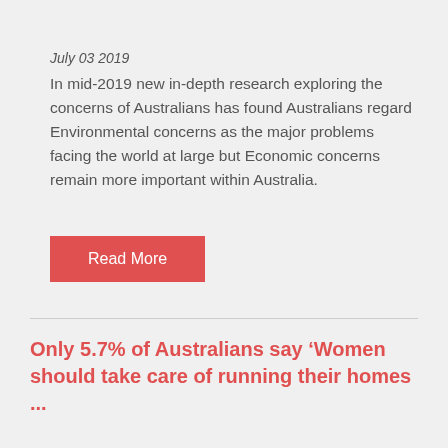July 03 2019
In mid-2019 new in-depth research exploring the concerns of Australians has found Australians regard Environmental concerns as the major problems facing the world at large but Economic concerns remain more important within Australia.
Read More
Only 5.7% of Australians say ‘Women should take care of running their homes ...